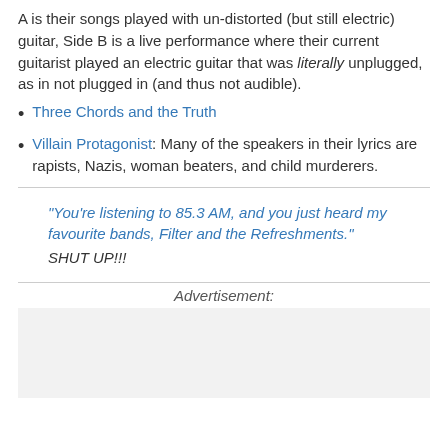A is their songs played with un-distorted (but still electric) guitar, Side B is a live performance where their current guitarist played an electric guitar that was literally unplugged, as in not plugged in (and thus not audible).
Three Chords and the Truth
Villain Protagonist: Many of the speakers in their lyrics are rapists, Nazis, woman beaters, and child murderers.
"You're listening to 85.3 AM, and you just heard my favourite bands, Filter and the Refreshments."
SHUT UP!!!
Advertisement: